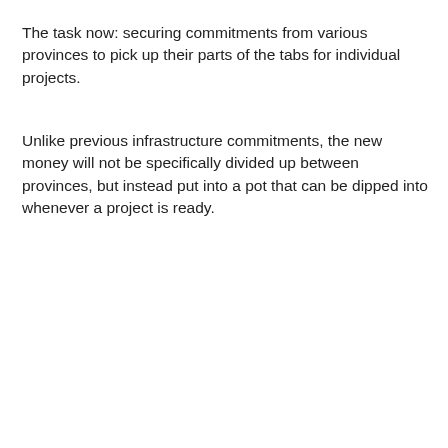The task now: securing commitments from various provinces to pick up their parts of the tabs for individual projects.
Unlike previous infrastructure commitments, the new money will not be specifically divided up between provinces, but instead put into a pot that can be dipped into whenever a project is ready.